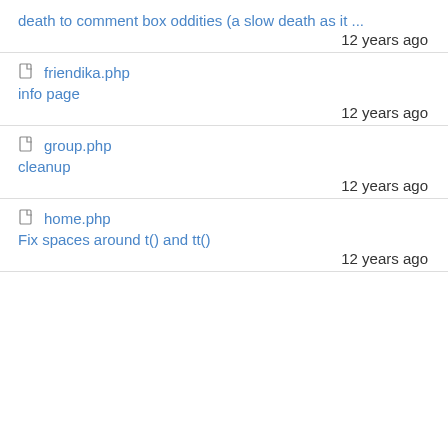death to comment box oddities (a slow death as it ...
12 years ago
friendika.php
info page
12 years ago
group.php
cleanup
12 years ago
home.php
Fix spaces around t() and tt()
12 years ago